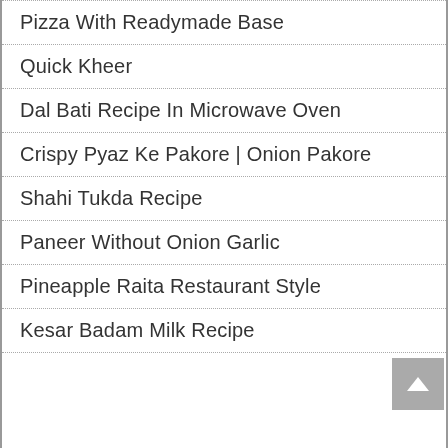Pizza With Readymade Base
Quick Kheer
Dal Bati Recipe In Microwave Oven
Crispy Pyaz Ke Pakore | Onion Pakore
Shahi Tukda Recipe
Paneer Without Onion Garlic
Pineapple Raita Restaurant Style
Kesar Badam Milk Recipe